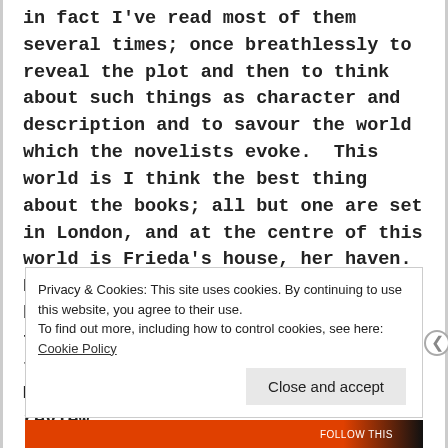in fact I've read most of them several times; once breathlessly to reveal the plot and then to think about such things as character and description and to savour the world which the novelists evoke.  This world is I think the best thing about the books; all but one are set in London, and at the centre of this world is Frieda's house, her haven.  But this haven is destroyed when the body of a murdered policeman is found under the floorboards and so the dance of death which began on Monday, continues.  As I wrote in my review
Privacy & Cookies: This site uses cookies. By continuing to use this website, you agree to their use.
To find out more, including how to control cookies, see here: Cookie Policy
Close and accept